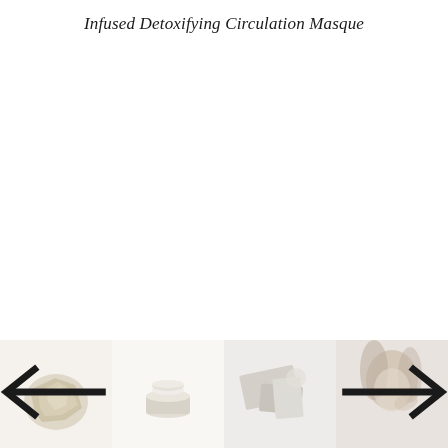Infused Detoxifying Circulation Masque
[Figure (illustration): Navigation arrows (left and right) for a product image carousel]
[Figure (photo): Row of four product thumbnail images: a raw stone/mineral, a cosmetic product on white surface, product/packaging flatlay, and a woman applying a face mask. Left thumbnail has a left arrow overlay, right thumbnail has a right arrow overlay.]